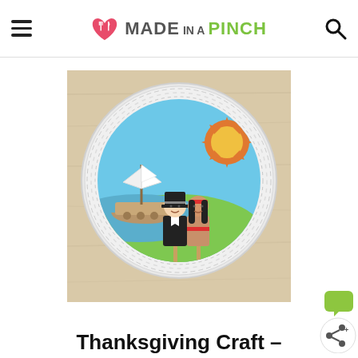MADE IN A PINCH
[Figure (photo): A paper plate craft scene showing a Thanksgiving-themed diorama. On a white paper plate rim, there is a blue sky background with a paper ship (Mayflower) on water on the left, an orange and yellow sun on the upper right, green grass at the bottom, and two puppet figures on popsicle sticks — a Pilgrim man in black hat and white collar, and a Native American girl in colorful dress with a red headband.]
Thanksgiving Craft –